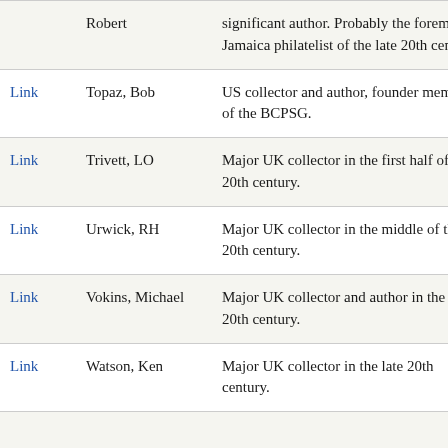|  | Name | Description |
| --- | --- | --- |
|  | Robert | significant author. Probably the foremost Jamaica philatelist of the late 20th century. |
| Link | Topaz, Bob | US collector and author, founder member of the BCPSG. |
| Link | Trivett, LO | Major UK collector in the first half of the 20th century. |
| Link | Urwick, RH | Major UK collector in the middle of the 20th century. |
| Link | Vokins, Michael | Major UK collector and author in the late 20th century. |
| Link | Watson, Ken | Major UK collector in the late 20th century. |